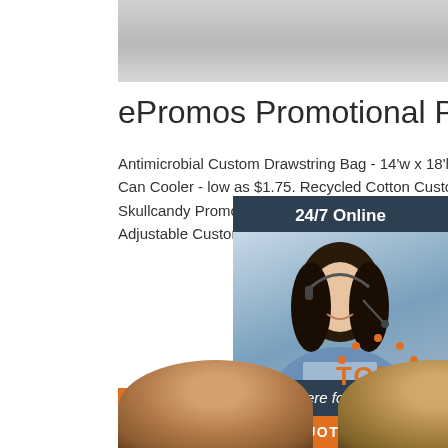[Figure (photo): Gray banner image at top of page]
ePromos Promotional Products
Antimicrobial Custom Drawstring Bag - 14'w x 18'h. $1.85. Full Color Folding Slim Custom Can Cooler - low as $1.75. Recycled Cotton Custom Tote Bag - 1 6'd. as low as $3.59. Skullcandy Promotional Wireless Bluetooth Earbuds. as low as $58.99. Online Meeting Adjustable Custom Ring Light.
[Figure (illustration): 24/7 Online chat widget with woman wearing headset, dark blue background, italic text 'Click here for free chat!' and orange QUOTATION button]
Get Price
[Figure (illustration): Orange TOP icon with dotted arc above and bold orange text]
[Figure (photo): Two round wooden product items partially visible at bottom of page]